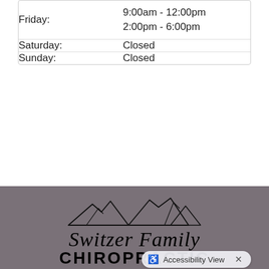| Day | Hours |
| --- | --- |
| Friday: | 9:00am - 12:00pm
2:00pm - 6:00pm |
| Saturday: | Closed |
| Sunday: | Closed |
[Figure (logo): Switzer Family Chiropractic logo with mountain illustration above the text. Text reads 'Switzer Family' in italic serif font and 'CHIROPRACTIC' in bold sans-serif font below, on a gray background.]
Accessibility View ×